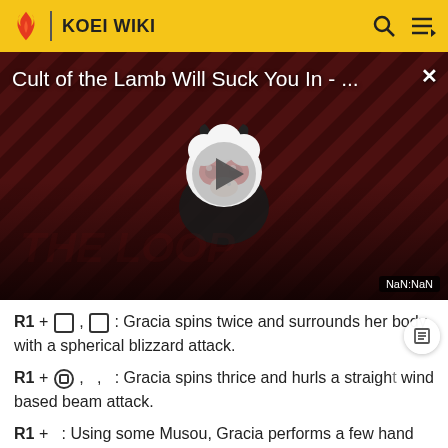KOEI WIKI
[Figure (screenshot): Video thumbnail for 'Cult of the Lamb Will Suck You In - ...' showing a cartoon devil lamb character with red eyes on a dark red diagonal striped background. Shows a play button overlay and THE LOOP watermark. Time displays NaN:NaN.]
R1 + [square], [square] : Gracia spins twice and surrounds her body with a spherical blizzard attack.
R1 + [square], , : Gracia spins thrice and hurls a straight wind based beam attack.
R1 + : Using some Musou, Gracia performs a few hand